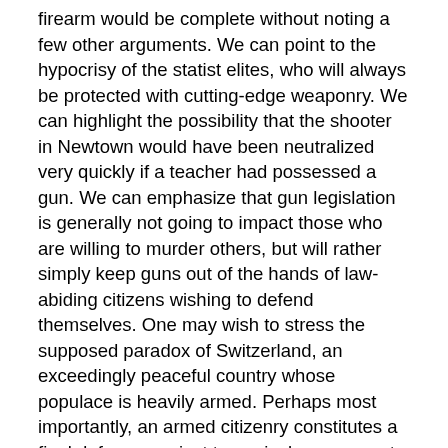firearm would be complete without noting a few other arguments. We can point to the hypocrisy of the statist elites, who will always be protected with cutting-edge weaponry. We can highlight the possibility that the shooter in Newtown would have been neutralized very quickly if a teacher had possessed a gun. We can emphasize that gun legislation is generally not going to impact those who are willing to murder others, but will rather simply keep guns out of the hands of law-abiding citizens wishing to defend themselves. One may wish to stress the supposed paradox of Switzerland, an exceedingly peaceful country whose populace is heavily armed. Perhaps most importantly, an armed citizenry constitutes a final defense against tyrannical government.
These are all valid arguments, ones that should indeed be stressed by those who wish to fight against the coming onslaught against the Second Amendment. There are myriad ways in which the prohibition of firearms constitutes an assault on our liberty. But most egregious of all is the fact that gun control legislation represents a process whereby we are all held hostage to evil. By implementing increasingly draconian state controls in the aftermath of a criminal act, the moral are punished twice. First, they suffer the crime. Then they are confronted with